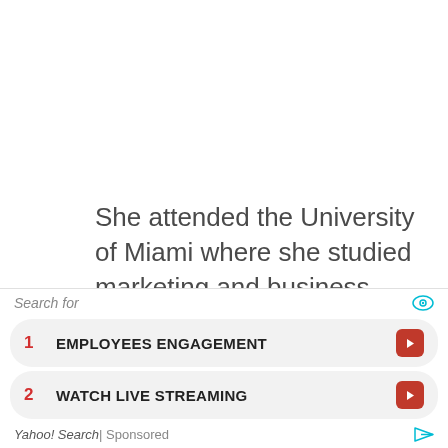She attended the University of Miami where she studied marketing and business administration.
She graduated with honors from there in 2015 before deciding to pursue an
[Figure (screenshot): Yahoo Search sponsored ad overlay showing: 'Search for' header with eye icon, item 1 'EMPLOYEES ENGAGEMENT' with red arrow button, item 2 'WATCH LIVE STREAMING' with red arrow button, and 'Yahoo! Search | Sponsored' footer with arrow icon.]